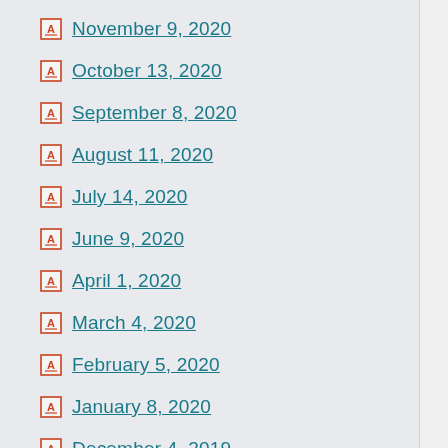November 9, 2020
October 13, 2020
September 8, 2020
August 11, 2020
July 14, 2020
June 9, 2020
April 1, 2020
March 4, 2020
February 5, 2020
January 8, 2020
December 4, 2019
November 6, 2019
October 2, 2019
September 4, 2019